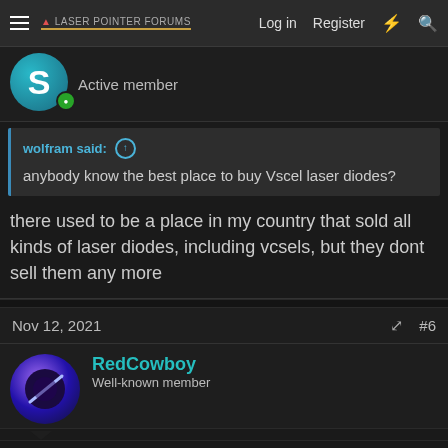Laser Pointer Forums — Log in  Register
Active member
wolfram said: ↑
anybody know the best place to buy Vscel laser diodes?
there used to be a place in my country that sold all kinds of laser diodes, including vcsels, but they dont sell them any more
Nov 12, 2021  #6
RedCowboy
Well-known member
A quick internet search and viola.......I don't see anything in